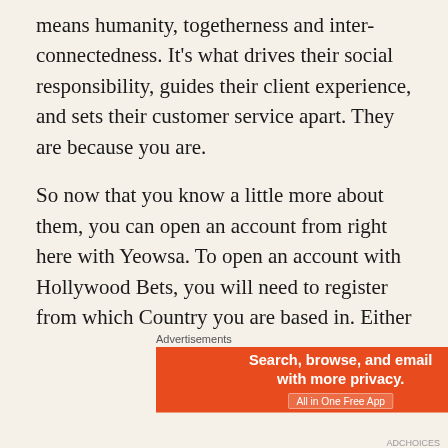means humanity, togetherness and inter-connectedness. It's what drives their social responsibility, guides their client experience, and sets their customer service apart. They are because you are.
So now that you know a little more about them, you can open an account from right here with Yeowsa. To open an account with Hollywood Bets, you will need to register from which Country you are based in. Either in Ireland or the UK. If you are based in the Ireland, you will be blocked from entering the UK site Hollywoodbets.co.uk and instead join up on the Irish Site Hollywoodbets.ie and likewise if you are
[Figure (other): DuckDuckGo advertisement banner with orange left section reading 'Search, browse, and email with more privacy. All in One Free App' and dark right section with DuckDuckGo duck logo and brand name]